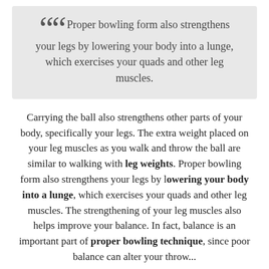Proper bowling form also strengthens your legs by lowering your body into a lunge, which exercises your quads and other leg muscles.
Carrying the ball also strengthens other parts of your body, specifically your legs. The extra weight placed on your leg muscles as you walk and throw the ball are similar to walking with leg weights. Proper bowling form also strengthens your legs by lowering your body into a lunge, which exercises your quads and other leg muscles. The strengthening of your leg muscles also helps improve your balance. In fact, balance is an important part of proper bowling technique, since poor balance can alter your throw...